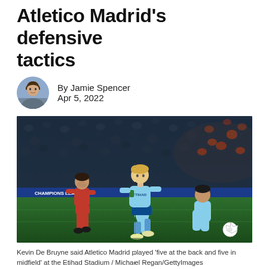Atletico Madrid's defensive tactics
By Jamie Spencer
Apr 5, 2022
[Figure (photo): Kevin De Bruyne in a light blue Manchester City kit dribbling past an Atletico Madrid player in a red kit during a Champions League match at the Etihad Stadium, night game with crowd in background.]
Kevin De Bruyne said Atletico Madrid played 'five at the back and five in midfield' at the Etihad Stadium / Michael Regan/GettyImages